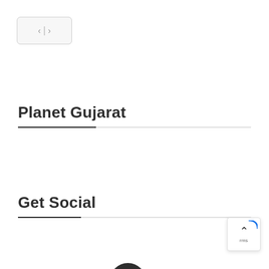[Figure (screenshot): Navigation widget with back and forward arrows separated by a vertical bar, inside a rounded rectangle button]
Planet Gujarat
Get Social
[Figure (other): Back to top button with upward chevron arrow and 'rms' text, with blue arc decoration in corner]